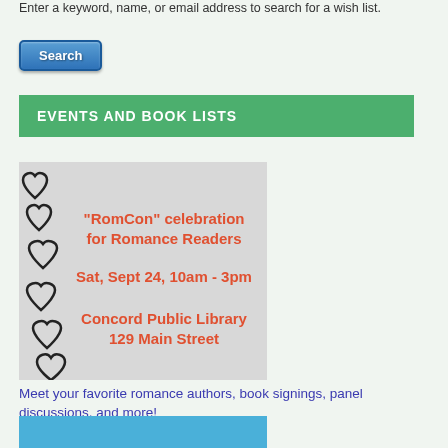Enter a keyword, name, or email address to search for a wish list.
[Figure (screenshot): Blue Search button with gradient styling]
EVENTS AND BOOK LISTS
[Figure (illustration): RomCon celebration event flyer with hearts on gray background. Text: "RomCon" celebration for Romance Readers, Sat, Sept 24, 10am - 3pm, Concord Public Library, 129 Main Street]
Meet your favorite romance authors, book signings, panel discussions, and more!
------------------------
[Figure (illustration): Bottom portion of another event image with blue background, partially visible]